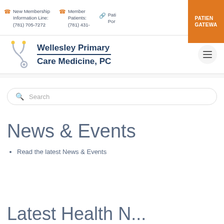New Membership Information Line: (781) 705-7272  Member Patients: (781) 431-  Pati Por  PATIENT GATEWA
[Figure (logo): Wellesley Primary Care Medicine, PC logo with stethoscope icon]
Search
News & Events
Read the latest News & Events
Latest Health N...